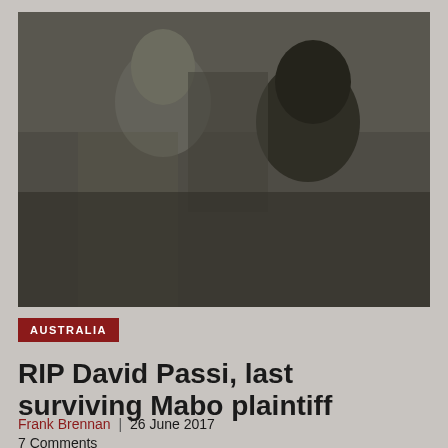[Figure (photo): Black and white photograph of two people in conversation, appearing to be outdoors with foliage in background. Grainy vintage photo style.]
AUSTRALIA
RIP David Passi, last surviving Mabo plaintiff
Frank Brennan | 26 June 2017
7 Comments